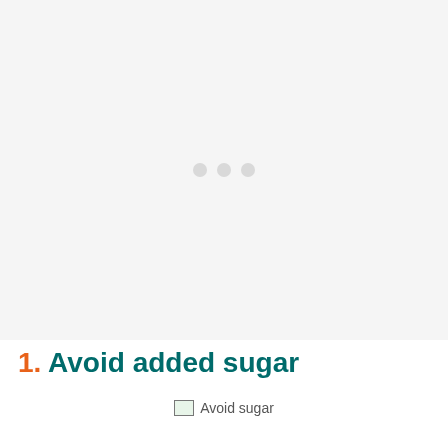[Figure (photo): Large mostly blank/loading image area placeholder at top of page, light gray background with faint dots indicating image loading]
1. Avoid added sugar
Avoid sugar